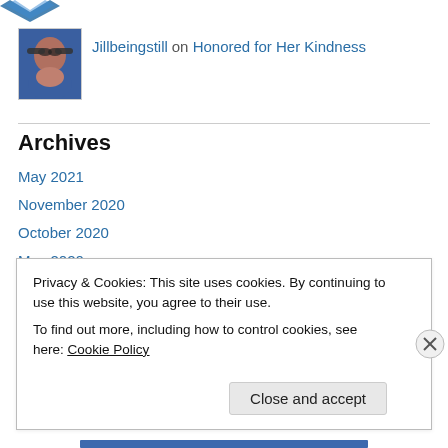[Figure (illustration): Partial decorative icon/logo at top left (blue geometric pattern, partially cropped)]
Jillbeingstill on Honored for Her Kindness
[Figure (photo): Profile photo of a woman with brown hair and sunglasses, wearing a blue top]
Archives
May 2021
November 2020
October 2020
May 2020
April 2020
October 2019
Privacy & Cookies: This site uses cookies. By continuing to use this website, you agree to their use.
To find out more, including how to control cookies, see here: Cookie Policy
Close and accept